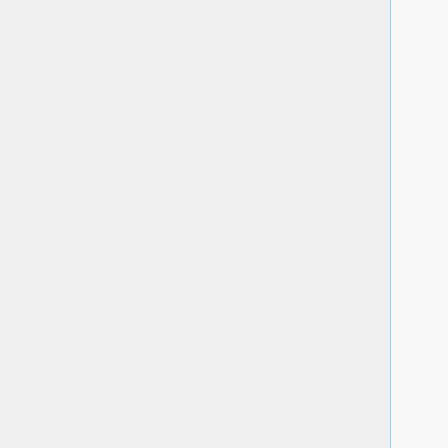2.68 set gcu
2.69 set gcut
2.70 set genrate
2.71 set gsw
2.72 set his
2.73 set ifp
2.74 set imp
2.75 set impl
2.76 set inftrk
2.77 set inventory
2.78 set isobra
2.79 set iter alb
2.80 set iter nuc
2.81 set keff
2.82 set lossrate
2.83 set lost
2.84 set maxsplit
2.85 set mbtch
2.86 set mcvol
2.87 set mden